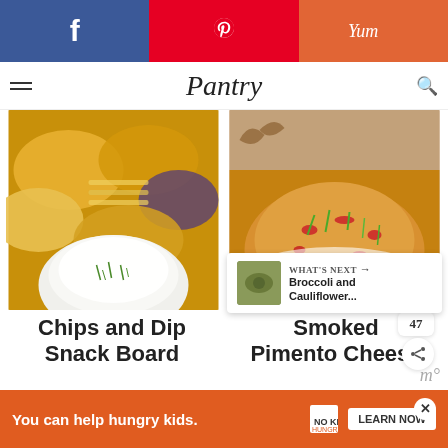Social sharing bar: Facebook, Pinterest, Yummly
Pantry
[Figure (photo): Close-up photo of various chips (wavy, purple, round) surrounding a white bowl of white creamy dip garnished with chives]
[Figure (photo): Close-up photo of smoked pimento cheese in a white bowl, topped with red pimentos and green onions, with pretzels in background]
Chips and Dip Snack Board
Smoked Pimento Cheese
WHAT'S NEXT → Broccoli and Cauliflower...
You can help hungry kids. NO KID HUNGRY LEARN NOW